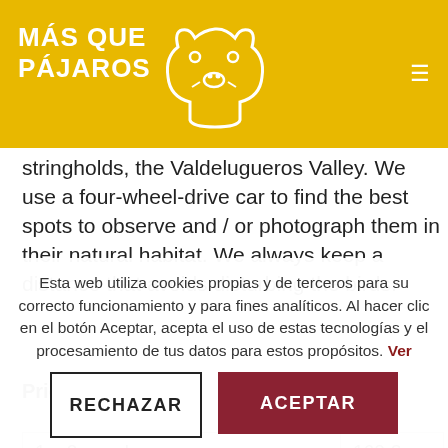[Figure (logo): Más Que Pájaros logo with white bear outline on yellow background and white bold text]
stringholds, the Valdelugueros Valley. We use a four-wheel-drive car to find the best spots to observe and / or photograph them in their natural habitat. We always keep a distance that avoids disturbing the birds.
Price per person:
| 1 – 2 people | 160 € |
| --- | --- |
Esta web utiliza cookies propias y de terceros para su correcto funcionamiento y para fines analíticos. Al hacer clic en el botón Aceptar, acepta el uso de estas tecnologías y el procesamiento de tus datos para estos propósitos. Ver
RECHAZAR
ACEPTAR